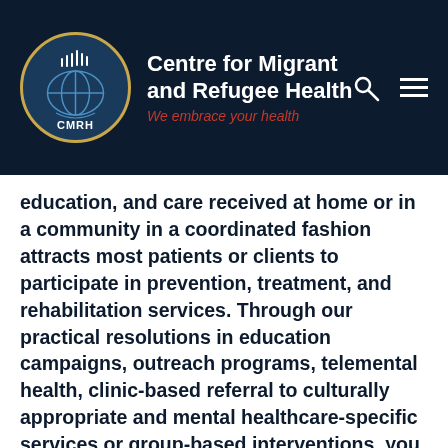[Figure (logo): Centre for Migrant and Refugee Health (CMRH) logo with circular emblem on dark navy background, with search and menu icons on the right]
education, and care received at home or in a community in a coordinated fashion attracts most patients or clients to participate in prevention, treatment, and rehabilitation services. Through our practical resolutions in education campaigns, outreach programs, telemental health, clinic-based referral to culturally appropriate and mental healthcare-specific services or group-based interventions, you will have access to our team, including mental health workers/clinicians, psychiatrists and groups, free of charge/cost.
CMRH deploys frameworks, monitoring and evaluation tools to assess our sophisticated mental healthcare services to improve health outcomes and